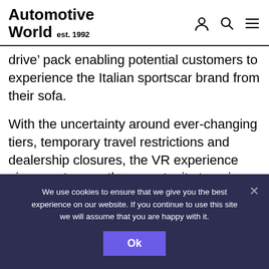Automotive World est. 1992
drive’ pack enabling potential customers to experience the Italian sportscar brand from their sofa.
With the uncertainty around ever-changing tiers, temporary travel restrictions and dealership closures, the VR experience gives customers the opportunity to enjoy the thrill of driving an
We use cookies to ensure that we give you the best experience on our website. If you continue to use this site we will assume that you are happy with it.